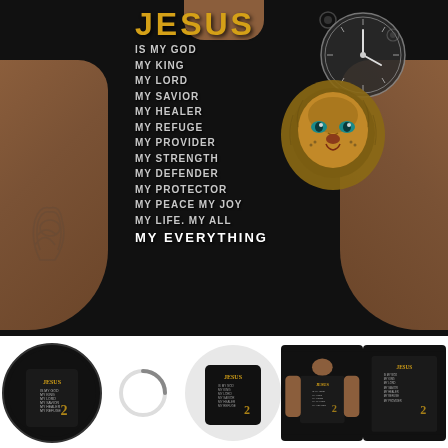[Figure (photo): Main product photo: back view of a man wearing a black t-shirt. The shirt features the word JESUS in large gold letters at the top, followed by a list in white/grey text: IS MY GOD, MY KING, MY LORD, MY SAVIOR, MY HEALER, MY REFUGE, MY PROVIDER, MY STRENGTH, MY DEFENDER, MY PROTECTOR, MY PEACE MY JOY, MY LIFE. MY ALL, MY EVERYTHING. A lion face with blue eyes and a clock/steampunk design overlays the right side of the text. The man has a tattoo on his left arm.]
[Figure (photo): Thumbnail 1 (selected, circular): back view of man wearing the same Jesus black t-shirt, circular crop with border.]
[Figure (photo): Thumbnail 2: Loading spinner / circular arrow icon on white background.]
[Figure (photo): Thumbnail 3 (circular): Black t-shirt laid flat showing back design with Jesus text and lion on white background.]
[Figure (photo): Thumbnail 4: Back view of man wearing the Jesus black t-shirt, rectangular crop.]
[Figure (photo): Thumbnail 5: Close-up back view of man wearing the Jesus black t-shirt, rectangular crop.]